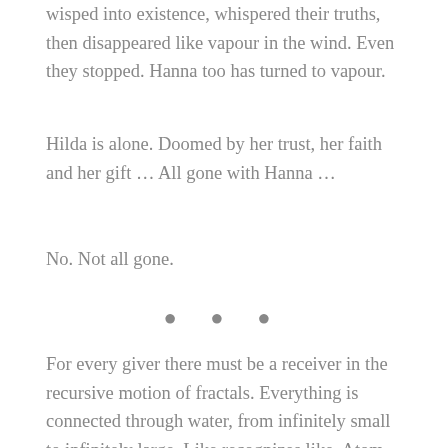wisped into existence, whispered their truths, then disappeared like vapour in the wind. Even they stopped. Hanna too has turned to vapour.
Hilda is alone. Doomed by her trust, her faith and her gift … All gone with Hanna …
No. Not all gone.
• • •
For every giver there must be a receiver in the recursive motion of fractals. Everything is connected through water, from infinitely small to infinitely large. Like recognizes like. Atom with atom. Like her and Hanna. Like water with water.
She's fallen recumbent on the dusty ground. She is